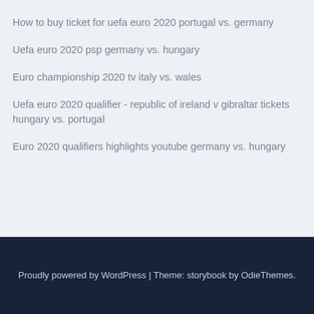How to buy ticket for uefa euro 2020 portugal vs. germany
Uefa euro 2020 psp germany vs. hungary
Euro championship 2020 tv italy vs. wales
Uefa euro 2020 qualifier - republic of ireland v gibraltar tickets hungary vs. portugal
Euro 2020 qualifiers highlights youtube germany vs. hungary
Proudly powered by WordPress | Theme: storybook by OdieThemes.